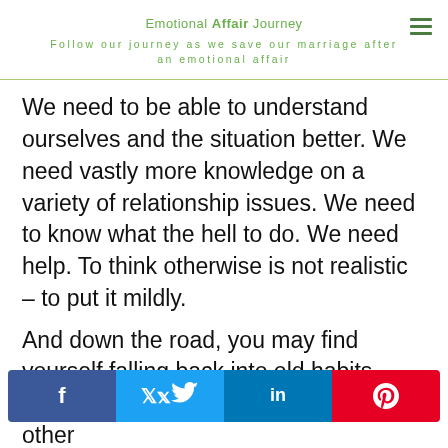Emotional Affair Journey
Follow our journey as we save our marriage after an emotional affair
We need to be able to understand ourselves and the situation better. We need vastly more knowledge on a variety of relationship issues. We need to know what the hell to do. We need help. To think otherwise is not realistic – to put it mildly.
And down the road, you may find yourself falling back into old habits, slacking off on your recovery plan and other
[Figure (infographic): Social sharing bar with Facebook (f), Twitter (bird), LinkedIn (in), and Pinterest (P) buttons]